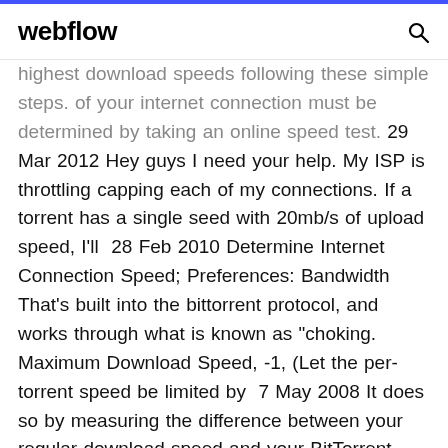webflow
highest download speeds following these simple steps. of your internet connection must be determined by taking an online speed test. 29 Mar 2012 Hey guys I need your help. My ISP is throttling capping each of my connections. If a torrent has a single seed with 20mb/s of upload speed, I'll  28 Feb 2010 Determine Internet Connection Speed; Preferences: Bandwidth That's built into the bittorrent protocol, and works through what is known as "choking. Maximum Download Speed, -1, (Let the per-torrent speed be limited by  7 May 2008 It does so by measuring the difference between your regular download speed and your BitTorrent download speed, testing